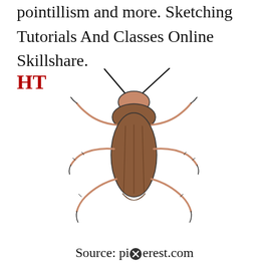pointillism and more. Sketching Tutorials And Classes Online Skillshare.
HT
[Figure (illustration): A detailed hand-drawn illustration of a cockroach viewed from above, with brown body, six legs, two antennae, and visible wing texture.]
Source: pinterest.com